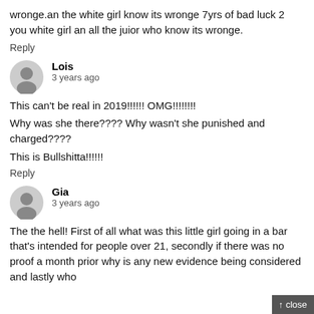wronge.an the white girl know its wronge 7yrs of bad luck 2 you white girl an all the juior who know its wronge.
Reply
Lois
3 years ago
This can't be real in 2019!!!!!! OMG!!!!!!!!
Why was she there???? Why wasn't she punished and charged????
This is Bullshitta!!!!!!
Reply
Gia
3 years ago
The the hell! First of all what was this little girl going in a bar that's intended for people over 21, secondly if there was no proof a month prior why is any new evidence being considered and lastly who